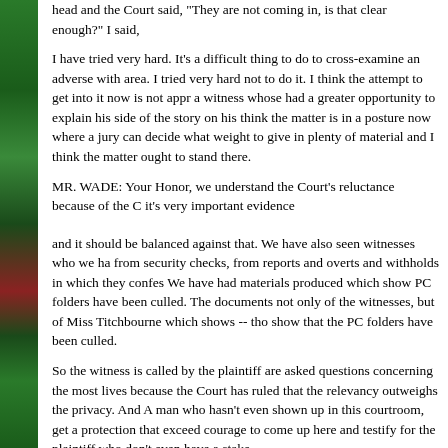head and the Court said, "They are not coming in, is that clear enough?" I said,
I have tried very hard. It's a difficult thing to do to cross-examine an adverse witness in this area. I tried very hard not to do it. I think the attempt to get into it now is not appropriate with a witness whose had a greater opportunity to explain his side of the story on his own. I think the matter is in a posture now where a jury can decide what weight to give the matter, in plenty of material and I think the matter ought to stand there.
MR. WADE: Your Honor, we understand the Court's reluctance because of the Court but it's very important evidence
and it should be balanced against that. We have also seen witnesses who we have heard from security checks, from reports and overts and withholds in which they confessed. We have had materials produced which show PC folders have been culled. The documents not only of the witnesses, but of Miss Titchbourne which shows -- those show that the PC folders have been culled.
So the witness is called by the plaintiff are asked questions concerning the most intimate lives because the Court has ruled that the relevancy outweighs the privacy. And yet. A man who hasn't even shown up in this courtroom, get a protection that exceeds the courage to come up here and testify for the plaintiff who don't even have a stake
MR. COOLEY: Number one, Your Honor, I have used absolutely no material from the file. To show you the extent to which this witness was protected, and that was be